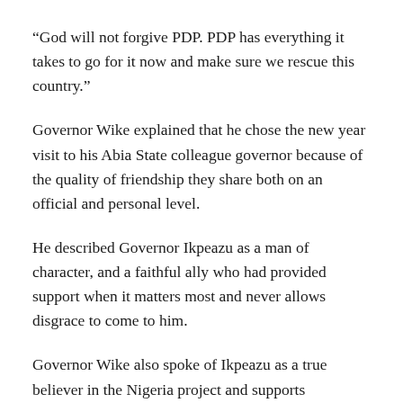“God will not forgive PDP. PDP has everything it takes to go for it now and make sure we rescue this country.”
Governor Wike explained that he chose the new year visit to his Abia State colleague governor because of the quality of friendship they share both on an official and personal level.
He described Governor Ikpeazu as a man of character, and a faithful ally who had provided support when it matters most and never allows disgrace to come to him.
Governor Wike also spoke of Ikpeazu as a true believer in the Nigeria project and supports everything that will foster development.
According to him, Governor Ikpeazu also championed the need to change of previous leadership of PDP to